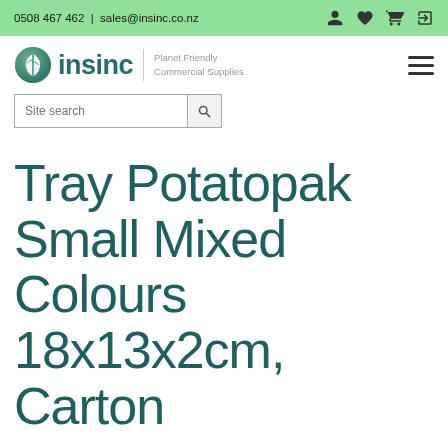0508 467 462 | sales@insinc.co.nz
[Figure (logo): Insinc logo with leaf icon and tagline 'Planet Friendly Commercial Supplies']
Site search
Tray Potatopak Small Mixed Colours 18x13x2cm, Carton